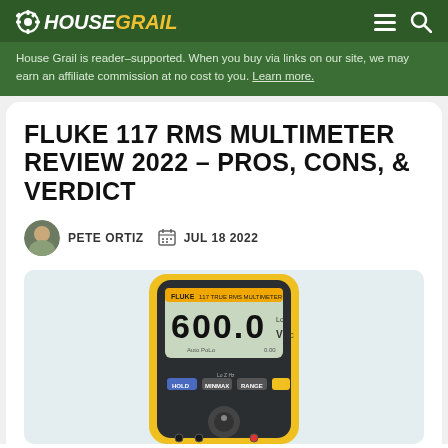House Grail
House Grail is reader-supported. When you buy via links on our site, we may earn an affiliate commission at no cost to you. Learn more.
FLUKE 117 RMS MULTIMETER REVIEW 2022 – PROS, CONS, & VERDICT
PETE ORTIZ   JUL 18 2022
[Figure (photo): Fluke 117 True RMS Multimeter device showing display reading 600.0 VAC]